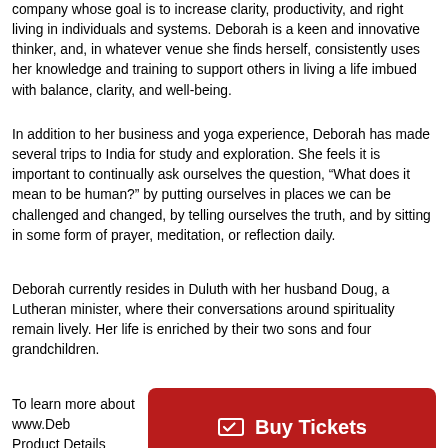company whose goal is to increase clarity, productivity, and right living in individuals and systems. Deborah is a keen and innovative thinker, and, in whatever venue she finds herself, consistently uses her knowledge and training to support others in living a life imbued with balance, clarity, and well-being.
In addition to her business and yoga experience, Deborah has made several trips to India for study and exploration. She feels it is important to continually ask ourselves the question, “What does it mean to be human?” by putting ourselves in places we can be challenged and changed, by telling ourselves the truth, and by sitting in some form of prayer, meditation, or reflection daily.
Deborah currently resides in Duluth with her husband Doug, a Lutheran minister, where their conversations around spirituality remain lively. Her life is enriched by their two sons and four grandchildren.
To learn more about Deborah, please visit www.DeborahKoehn.com.
Product Details